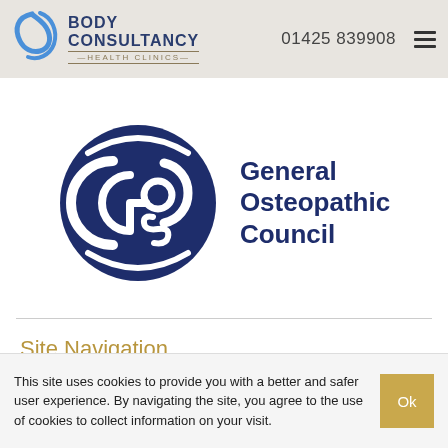Body Consultancy Health Clinics | 01425 839908
[Figure (logo): General Osteopathic Council logo: dark navy circle with GOsC letters in white, next to text 'General Osteopathic Council' in dark navy]
Site Navigation
Homepage
This site uses cookies to provide you with a better and safer user experience. By navigating the site, you agree to the use of cookies to collect information on your visit.